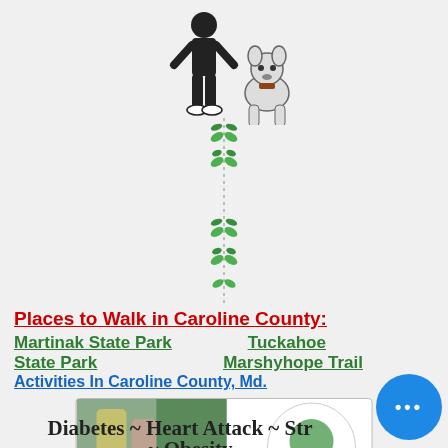[Figure (illustration): Cartoon icons of a person walking with a dog (person in dark outfit, raccoon/dog character)]
[Figure (illustration): Decorative vertical vine/plant divider with green leaves arranged vertically]
Places to Walk in Caroline County: Martinak State Park   Tuckahoe State Park   Marshyhope Trail
[Figure (photo): Caroline County Recreation and Parks banner image showing outdoor activities and logo]
Activities In Caroline County, Md.
Diabetes ~ Heart Attack ~ Str... ~ Obesity